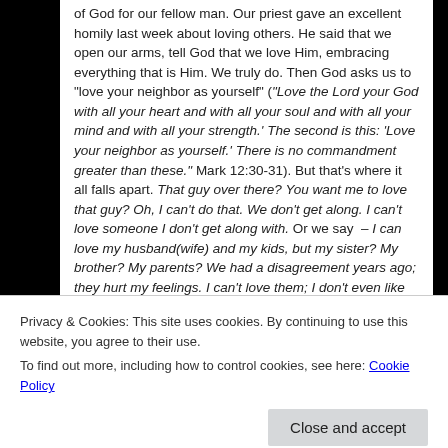of God for our fellow man. Our priest gave an excellent homily last week about loving others. He said that we open our arms, tell God that we love Him, embracing everything that is Him. We truly do. Then God asks us to "love your neighbor as yourself" ("Love the Lord your God with all your heart and with all your soul and with all your mind and with all your strength.' The second is this: 'Love your neighbor as yourself.' There is no commandment greater than these." Mark 12:30-31). But that's where it all falls apart. That guy over there? You want me to love that guy? Oh, I can't do that. We don't get along. I can't love someone I don't get along with. Or we say – I can love my husband(wife) and my kids, but my sister? My brother? My parents? We had a disagreement years ago; they hurt my feelings. I can't love them; I don't even like...
Privacy & Cookies: This site uses cookies. By continuing to use this website, you agree to their use.
To find out more, including how to control cookies, see here: Cookie Policy
God if we cannot love those most known to us? How can